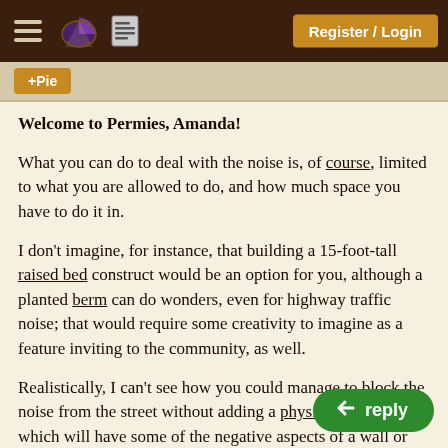Register / Login
+Pie
Welcome to Permies, Amanda!
What you can do to deal with the noise is, of course, limited to what you are allowed to do, and how much space you have to do it in.
I don't imagine, for instance, that building a 15-foot-tall raised bed construct would be an option for you, although a planted berm can do wonders, even for highway traffic noise; that would require some creativity to imagine as a feature inviting to the community, as well.
Realistically, I can't see how you could manage to block the noise from the street without adding a physical barrier, which will have some of the negative aspects of a wall or hedge that you're trying to avoid. I think mitigation is probably the most practical path.